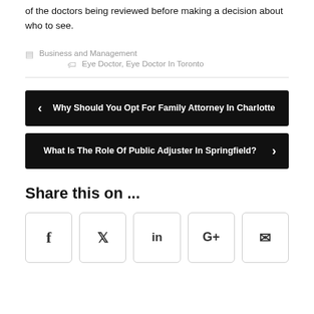of the doctors being reviewed before making a decision about who to see.
Business and Management  Eye Doctor, Eye Doctor In Toronto
< Why Should You Opt For Family Attorney In Charlotte
What Is The Role Of Public Adjuster In Springfield? >
Share this on ...
[Figure (other): Social share buttons: Facebook (f), Twitter (bird), LinkedIn (in), Google+ (G+), Email (envelope)]